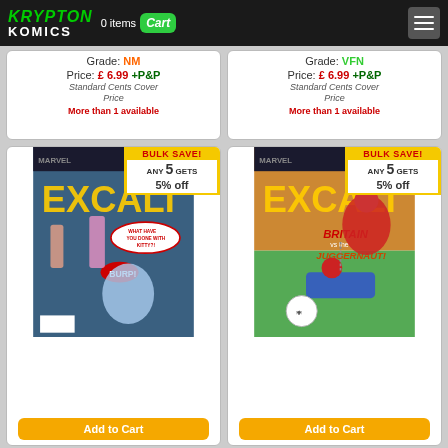Krypton Komics — 0 items Cart
Grade: NM
Price: £ 6.99 +P&P
Standard Cents Cover Price
More than 1 available
Grade: VFN
Price: £ 6.99 +P&P
Standard Cents Cover Price
More than 1 available
[Figure (illustration): Excalibur comic book cover showing Marvel characters with BULK SAVE! ANY 5 GETS 5% off badge]
Add to Cart
[Figure (illustration): Excalibur comic book cover featuring Captain Britain vs Juggernaut with BULK SAVE! ANY 5 GETS 5% off badge]
Add to Cart